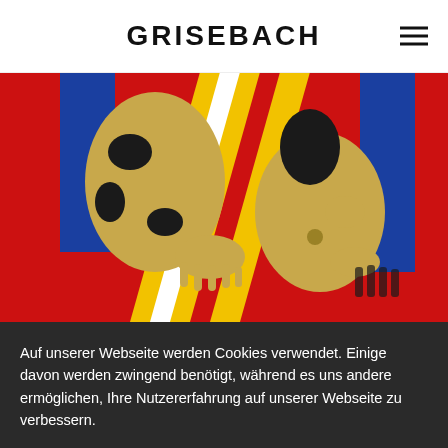GRISEBACH
[Figure (illustration): Colorful pop-art style painting showing two figures with golden/beige tones against a vivid red background with blue rectangles and yellow/white diagonal stripes. The figures appear to be human forms with dark spotted patterns.]
Auf unserer Webseite werden Cookies verwendet. Einige davon werden zwingend benötigt, während es uns andere ermöglichen, Ihre Nutzererfahrung auf unserer Webseite zu verbessern.
Einstellungen
Akzeptieren